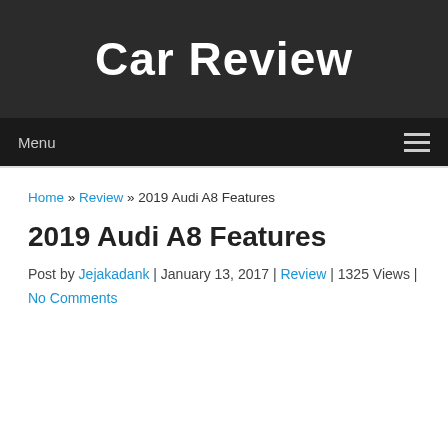Car Review
Menu
Home » Review » 2019 Audi A8 Features
2019 Audi A8 Features
Post by Jejakadank | January 13, 2017 | Review | 1325 Views | No Comments